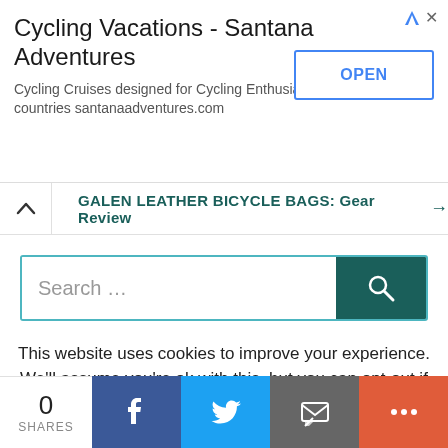[Figure (screenshot): Advertisement banner for Cycling Vacations - Santana Adventures with OPEN button]
Cycling Vacations - Santana Adventures
Cycling Cruises designed for Cycling Enthusiasts in over 40 countries santanaadventures.com
GALEN LEATHER BICYCLE BAGS: Gear Review →
[Figure (screenshot): Search bar with teal border and dark teal search button with magnifying glass icon]
This website uses cookies to improve your experience. We'll assume you're ok with this, but you can opt-out if you wish.
[Figure (infographic): Social share bar with 0 SHARES count, Facebook, Twitter, Email, and More buttons]